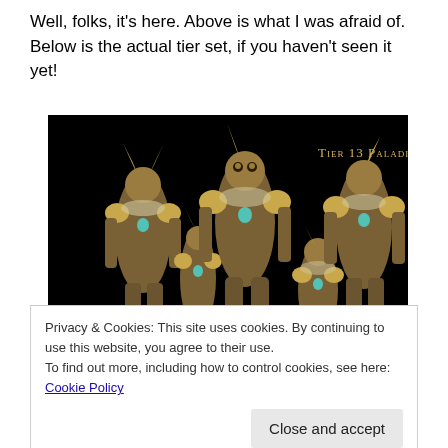Well, folks, it's here. Above is what I was afraid of. Below is the actual tier set, if you haven't seen it yet!
[Figure (screenshot): Screenshot of Tier 13 Paladin armor set from a video game, showing multiple character models wearing owl-themed golden armor on a black background. Text 'Tier 13 Paladin' appears in the upper right corner.]
Privacy & Cookies: This site uses cookies. By continuing to use this website, you agree to their use.
To find out more, including how to control cookies, see here: Cookie Policy
[Close and accept]
Design requested a set to 'key off the Guardian of Ancient